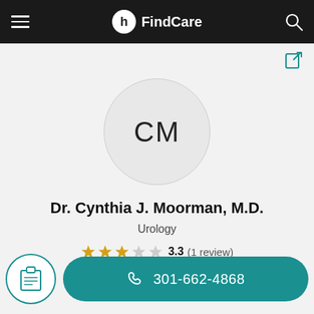FindCare
[Figure (screenshot): Share icon in top right]
[Figure (illustration): Avatar circle with initials CM]
Dr. Cynthia J. Moorman, M.D.
Urology
3.3 (1 review)
Leave a review
301-662-4868